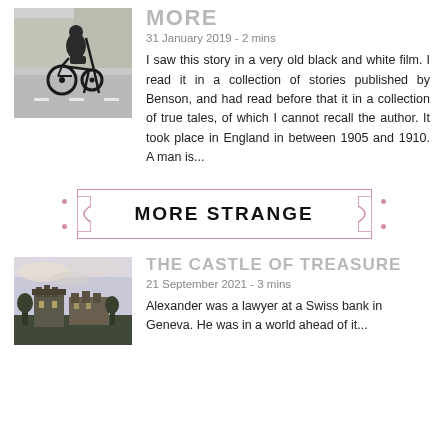[Figure (photo): Person in a wheelchair on a street, black and white scene]
MORE
31 January 2019 - 2 mins
I saw this story in a very old black and white film. I read it in a collection of stories published by Benson, and had read before that it in a collection of true tales, of which I cannot recall the author. It took place in England in between 1905 and 1910. A man is...
MORE STRANGE
[Figure (photo): Castle or manor house at dusk with cloudy sky]
THE CASTLE OF TREASURE
21 September 2021 - 3 mins
Alexander was a lawyer at a Swiss bank in Geneva. He was in a world ahead of it...